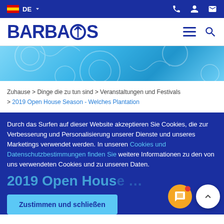DE (language selector) | phone, account, mail icons
[Figure (logo): Barbados tourism logo in dark blue with trident icon inside the letter O]
[Figure (illustration): Light blue decorative banner with wave/floral patterns]
Zuhause > Dinge die zu tun sind > Veranstaltungen und Festivals > 2019 Open House Season - Welches Plantation
Durch das Surfen auf dieser Website akzeptieren Sie Cookies, die zur Verbesserung und Personalisierung unserer Dienste und unseres Marketings verwendet werden. In unseren Cookies und Datenschutzbestimmungen finden Sie weitere Informationen zu den von uns verwendeten Cookies und zu unseren Daten.
Zustimmen und schließen